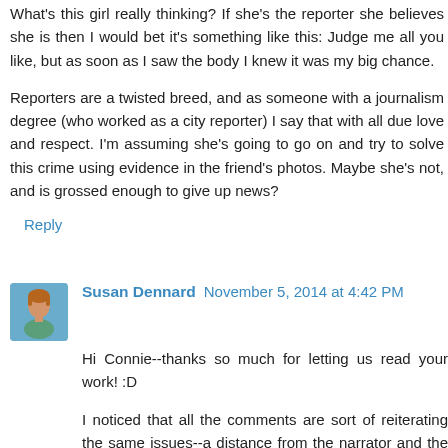What's this girl really thinking? If she's the reporter she believes she is then I would bet it's something like this: Judge me all you like, but as soon as I saw the body I knew it was my big chance.
Reporters are a twisted breed, and as someone with a journalism degree (who worked as a city reporter) I say that with all due love and respect. I'm assuming she's going to go on and try to solve this crime using evidence in the friend's photos. Maybe she's not, and is grossed enough to give up news?
Reply
Susan Dennard November 5, 2014 at 4:42 PM
Hi Connie--thanks so much for letting us read your work! :D
I noticed that all the comments are sort of reiterating the same issues--a distance from the narrator and the scene, a lack of visceral reactions and appropriate emotions, an introduction of too much backstory--and I do agree with those points. But rather than chime in with more of the